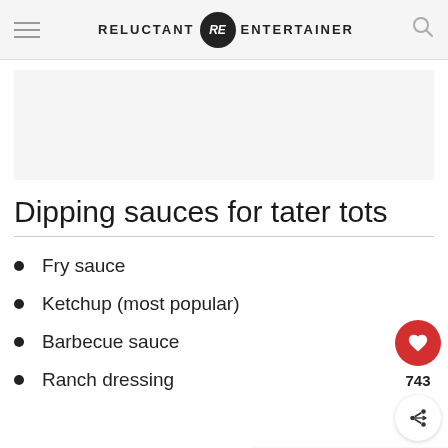RELUCTANT RE ENTERTAINER
[Figure (other): Advertisement placeholder box]
Dipping sauces for tater tots
Fry sauce
Ketchup (most popular)
Barbecue sauce
Ranch dressing